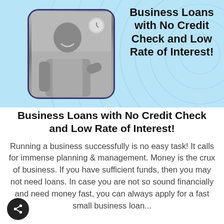[Figure (photo): Banner with light blue background and concentric circle pattern. A black-and-white photo of a smiling man in an apron (business owner) is shown on the left in a rounded rectangle frame. On the right, bold text reads 'Business Loans with No Credit Check and Low Rate of Interest!']
Business Loans with No Credit Check and Low Rate of Interest!
Running a business successfully is no easy task! It calls for immense planning & management. Money is the crux of business. If you have sufficient funds, then you may not need loans. In case you are not so sound financially and need money fast, you can always apply for a fast small business loan...